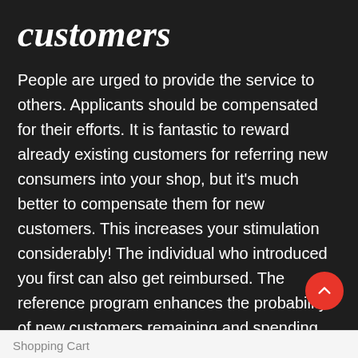customers
People are urged to provide the service to others. Applicants should be compensated for their efforts. It is fantastic to reward already existing customers for referring new consumers into your shop, but it's much better to compensate them for new customers. This increases your stimulation considerably! The individual who introduced you first can also get reimbursed. The reference program enhances the probability of new customers remaining and spending more money than current customers.
Shopping Cart